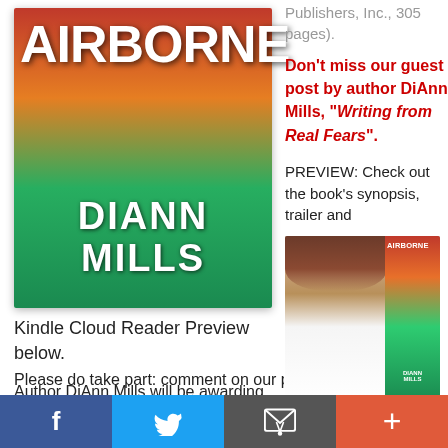[Figure (illustration): Book cover for 'Airborne' by DiAnn Mills showing a city skyline with colorful gradient background]
Publishers, Inc., 305 pages).
Don't miss our guest post by author DiAnn Mills, "Writing from Real Fears".
PREVIEW: Check out the book's synopsis, trailer and
Kindle Cloud Reader Preview below.
Author DiAnn Mills will be awarding a $25 Amazon/BN gift card to two randomly drawn winners via Rafflecopter during the tour.
[Figure (photo): Author photo of DiAnn Mills alongside a small version of the Airborne book cover]
Please do take part: comment on our post and follow the